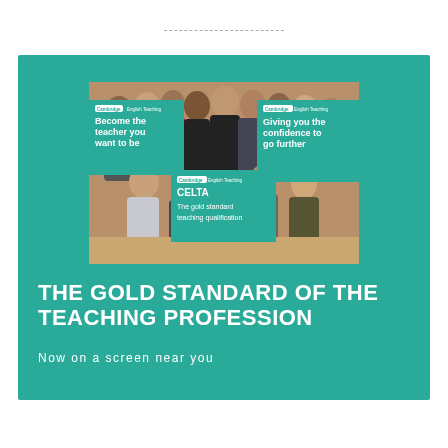[Figure (photo): A composite image on a teal background showing a group photo of teachers/trainees, overlaid with three Cambridge English Teaching branded cards: 'Become the teacher you want to be', 'CELTA – The gold standard teaching qualification', and 'Giving you the confidence to go further']
THE GOLD STANDARD OF THE TEACHING PROFESSION
Now on a screen near you